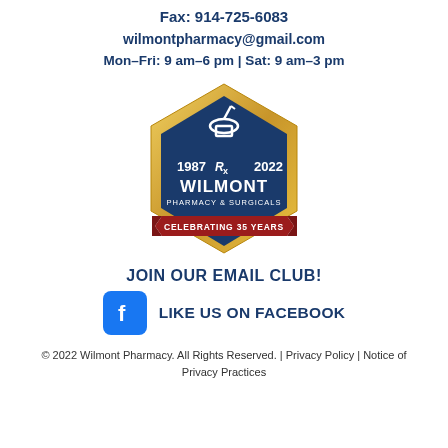Fax: 914-725-6083
wilmontpharmacy@gmail.com
Mon–Fri: 9 am–6 pm | Sat: 9 am–3 pm
[Figure (logo): Wilmont Pharmacy & Surgicals hexagonal badge logo with gold border, blue background, mortar and pestle icon, years 1987 and 2022, and red ribbon banner reading 'CELEBRATING 35 YEARS']
JOIN OUR EMAIL CLUB!
[Figure (logo): Facebook logo icon (blue square with white 'f') next to text 'LIKE US ON FACEBOOK']
LIKE US ON FACEBOOK
© 2022 Wilmont Pharmacy. All Rights Reserved. | Privacy Policy | Notice of Privacy Practices